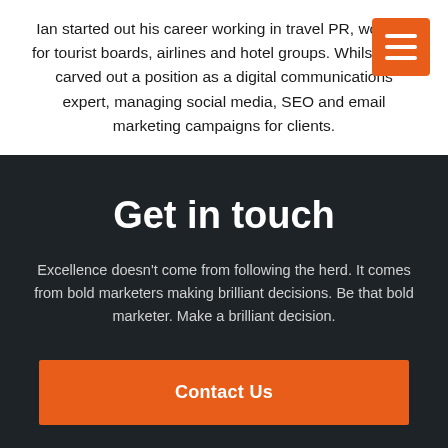Ian started out his career working in travel PR, working for tourist boards, airlines and hotel groups. Whilst there carved out a position as a digital communications expert, managing social media, SEO and email marketing campaigns for clients.
[Figure (other): Orange hamburger menu button with three white horizontal lines]
Get in touch
Excellence doesn't come from following the herd. It comes from bold marketers making brilliant decisions. Be that bold marketer. Make a brilliant decision.
Contact Us